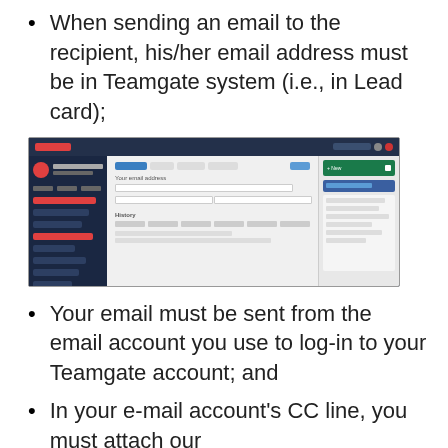When sending an email to the recipient, his/her email address must be in Teamgate system (i.e., in Lead card);
[Figure (screenshot): Screenshot of the Teamgate CRM application showing a lead card with email functionality and a sidebar navigation panel]
Your email must be sent from the email account you use to log-in to your Teamgate account; and
In your e-mail account's CC line, you must attach our